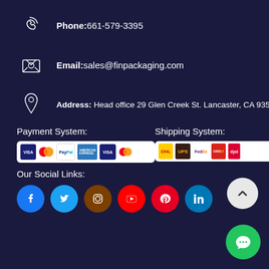Phone:661-579-3395
Email:sales@finpackaging.com
Address: Head office 29 Glen Creek St. Lancaster, CA 93535
Payment System:
[Figure (logo): Payment logos: VISA, Mastercard, PayPal, American Express, VISA, Mastercard]
Shipping System:
[Figure (logo): Shipping logos: DHL, UPS, FedEx, OREO branded, dpd]
Our Social Links:
[Figure (infographic): Social media icons: Facebook, Twitter, Instagram, YouTube, Pinterest, LinkedIn]